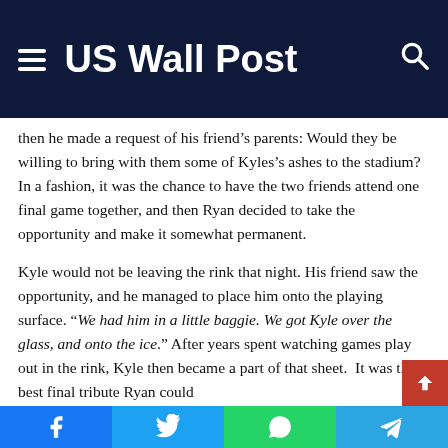US Wall Post
then he made a request of his friend's parents: Would they be willing to bring with them some of Kyles's ashes to the stadium? In a fashion, it was the chance to have the two friends attend one final game together, and then Ryan decided to take the opportunity and make it somewhat permanent.
Kyle would not be leaving the rink that night. His friend saw the opportunity, and he managed to place him onto the playing surface. “We had him in a little baggie. We got Kyle over the glass, and onto the ice.” After years spent watching games play out in the rink, Kyle then became a part of that sheet.  It was the best final tribute Ryan could